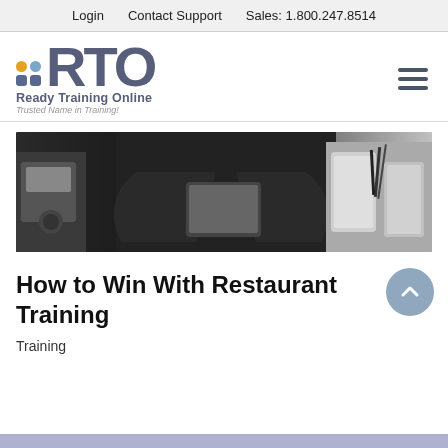Login   Contact Support   Sales: 1.800.247.8514
[Figure (logo): Ready Training Online (RTO) logo with colorful dot grid, RTO letters in slate blue, 'Ready Training Online' text, and tagline 'Trusted Name in Training!']
[Figure (photo): Hero banner photo of a restaurant worker in a black apron holding a tablet, with coffee/espresso equipment and jars in the background]
How to Win With Restaurant Training
Training